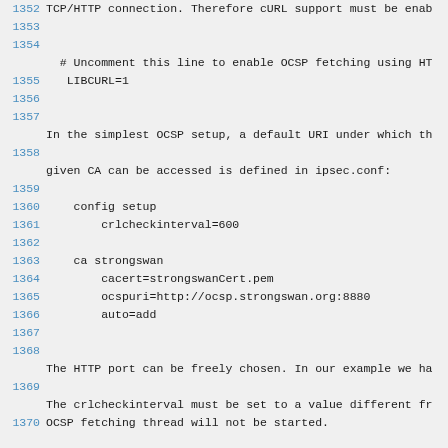Code listing lines 1352-1370 showing OCSP/cURL configuration for strongSwan ipsec
1352 TCP/HTTP connection. Therefore cURL support must be enab
1353
1354
1354   # Uncomment this line to enable OCSP fetching using HT
1355   LIBCURL=1
1356
1357
1357 In the simplest OCSP setup, a default URI under which th
1358
1358 given CA can be accessed is defined in ipsec.conf:
1359
1360   config setup
1361         crlcheckinterval=600
1362
1363   ca strongswan
1364         cacert=strongswanCert.pem
1365         ocspuri=http://ocsp.strongswan.org:8880
1366         auto=add
1367
1368
1368 The HTTP port can be freely chosen. In our example we ha
1369
1369 The crlcheckinterval must be set to a value different fr
1370 OCSP fetching thread will not be started.